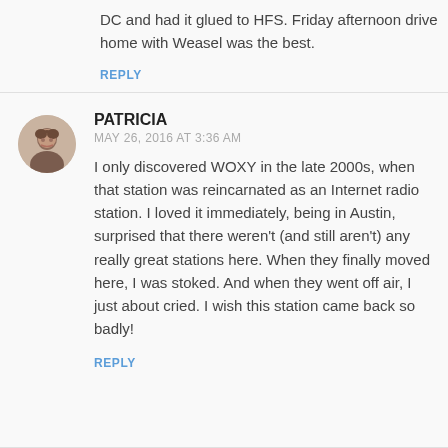DC and had it glued to HFS. Friday afternoon drive home with Weasel was the best.
REPLY
[Figure (photo): Circular avatar photo of a woman with dark hair, smiling.]
PATRICIA
MAY 26, 2016 AT 3:36 AM
I only discovered WOXY in the late 2000s, when that station was reincarnated as an Internet radio station. I loved it immediately, being in Austin, surprised that there weren't (and still aren't) any really great stations here. When they finally moved here, I was stoked. And when they went off air, I just about cried. I wish this station came back so badly!
REPLY